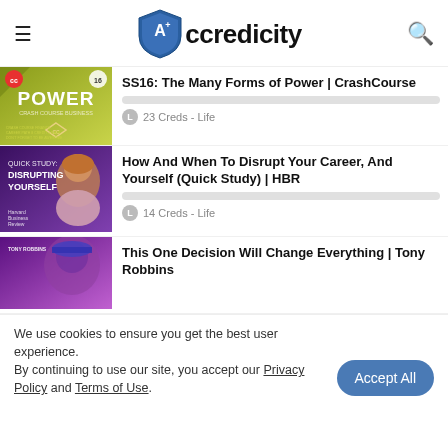Accredicity
[Figure (screenshot): Thumbnail for SS16: The Many Forms of Power CrashCourse - yellow-green background with POWER text]
SS16: The Many Forms of Power | CrashCourse
23 Creds - Life
[Figure (screenshot): Thumbnail for How And When To Disrupt Your Career - purple background with woman (Quick Study: Disrupting Yourself, Harvard Business Review)]
How And When To Disrupt Your Career, And Yourself (Quick Study) | HBR
14 Creds - Life
[Figure (screenshot): Thumbnail for This One Decision Will Change Everything - Tony Robbins, purple tones with person in hat]
This One Decision Will Change Everything | Tony Robbins
We use cookies to ensure you get the best user experience. By continuing to use our site, you accept our Privacy Policy and Terms of Use.